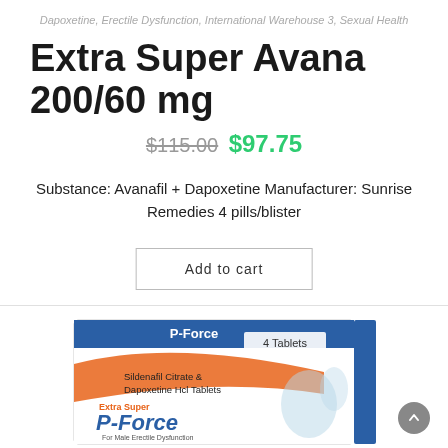Dapoxetine, Erectile Dysfunction, International Warehouse 3, Sexual Health
Extra Super Avana 200/60 mg
$115.00 $97.75
Substance: Avanafil + Dapoxetine Manufacturer: Sunrise Remedies 4 pills/blister
Add to cart
[Figure (photo): Product box of Extra Super P-Force: Sildenafil Citrate & Dapoxetine Hcl Tablets, 4 Tablets per box, For Male Erectile Dysfunction In Premature Ejaculation, with blue and orange design.]